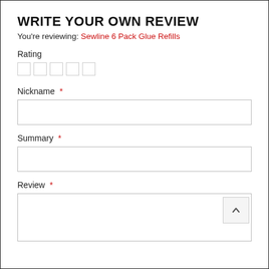WRITE YOUR OWN REVIEW
You're reviewing: Sewline 6 Pack Glue Refills
Rating
[Figure (other): Five empty star rating boxes]
Nickname *
[Figure (other): Empty text input box for Nickname]
Summary *
[Figure (other): Empty text input box for Summary]
Review *
[Figure (other): Large empty textarea for Review with scroll button showing up arrow]